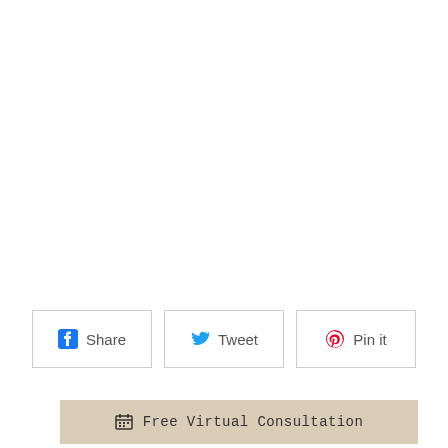[Figure (other): Social share buttons row with Facebook Share, Tweet, and Pin it buttons]
Free Virtual Consultation